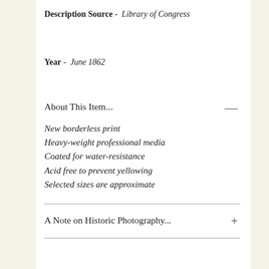Description Source -  Library of Congress
Year -  June 1862
About This Item...
New borderless print
Heavy-weight professional media
Coated for water-resistance
Acid free to prevent yellowing
Selected sizes are approximate
A Note on Historic Photography...